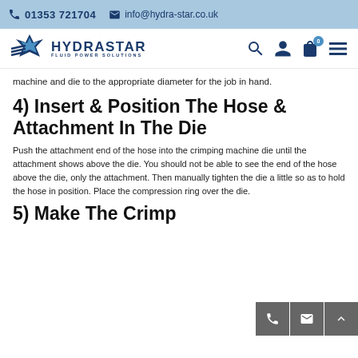01353 721704 | info@hydra-star.co.uk
[Figure (logo): Hydrastar Fluid Power Solutions logo with star/wing graphic and navigation icons (search, account, cart, menu)]
machine and die to the appropriate diameter for the job in hand.
4) Insert & Position The Hose & Attachment In The Die
Push the attachment end of the hose into the crimping machine die until the attachment shows above the die. You should not be able to see the end of the hose above the die, only the attachment. Then manually tighten the die a little so as to hold the hose in position. Place the compression ring over the die.
5) Make The Crimp